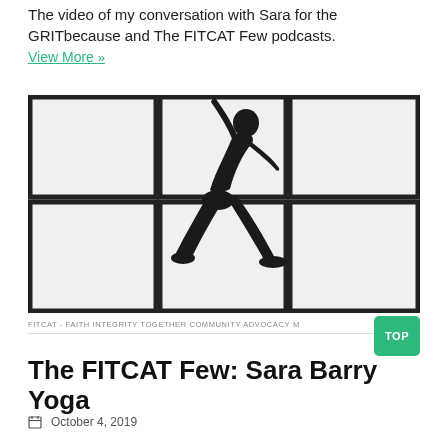The video of my conversation with Sara for the GRITbecause and The FITCAT Few podcasts.
View More »
[Figure (photo): Silhouette of a person doing a yoga pose (warrior/extended side angle) in front of a grid of backlit panels. The figure is all black against a bright white background with dark window frame grid lines.]
FITCAT - FAITH INTEGRITY TOGETHER COMMUNITY ADVOCACY M
The FITCAT Few: Sara Barry Yoga
October 4, 2019